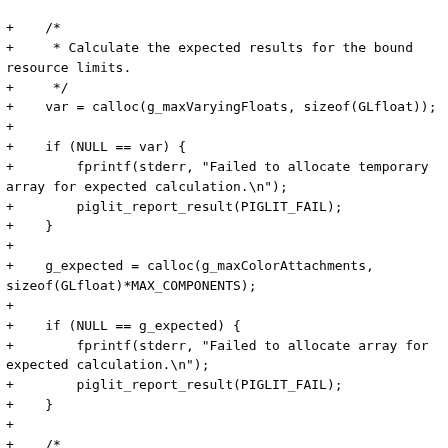+    /*
+     * Calculate the expected results for the bound resource limits.
+     */
+    var = calloc(g_maxVaryingFloats, sizeof(GLfloat));
+
+    if (NULL == var) {
+        fprintf(stderr, "Failed to allocate temporary array for expected calculation.\n");
+        piglit_report_result(PIGLIT_FAIL);
+    }
+
+    g_expected = calloc(g_maxColorAttachments, sizeof(GLfloat)*MAX_COMPONENTS);
+
+    if (NULL == g_expected) {
+        fprintf(stderr, "Failed to allocate array for expected calculation.\n");
+        piglit_report_result(PIGLIT_FAIL);
+    }
+
+    /*
+     * Sampler cover up to the total number of varying floats.
+     */
+    for (i = 0; i < g_maxVaryingFloats; i++) {
+        if ((i <
g_maxVertexTextureImageUnits*MAX_COMPONENTS) &&
+                (i < NUM_PRIMES)) {
+            var[i] = g_primes[i];